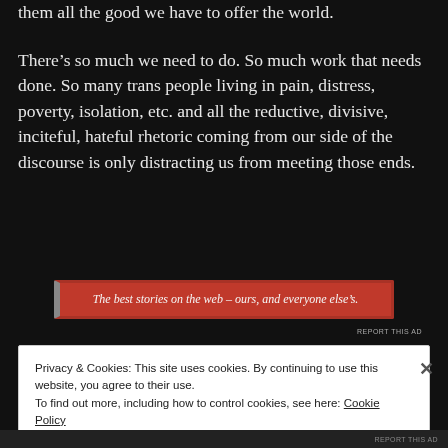them all the good we have to offer the world.
There’s so much we need to do. So much work that needs done. So many trans people living in pain, distress, poverty, isolation, etc. and all the reductive, divisive, inciteful, hateful rhetoric coming from our side of the discourse is only distracting us from meeting those ends.
[Figure (other): Red advertisement banner with text: The best stories on the web – ours, and everyone else’s.]
REPORT THIS AD
Privacy & Cookies: This site uses cookies. By continuing to use this website, you agree to their use.
To find out more, including how to control cookies, see here: Cookie Policy
Close and accept